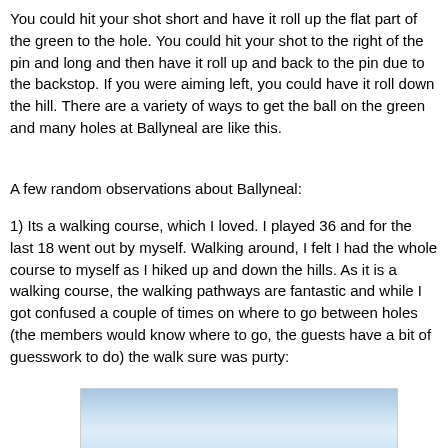You could hit your shot short and have it roll up the flat part of the green to the hole. You could hit your shot to the right of the pin and long and then have it roll up and back to the pin due to the backstop. If you were aiming left, you could have it roll down the hill. There are a variety of ways to get the ball on the green and many holes at Ballyneal are like this.
A few random observations about Ballyneal:
1) Its a walking course, which I loved. I played 36 and for the last 18 went out by myself. Walking around, I felt I had the whole course to myself as I hiked up and down the hills. As it is a walking course, the walking pathways are fantastic and while I got confused a couple of times on where to go between holes (the members would know where to go, the guests have a bit of guesswork to do) the walk sure was purty:
[Figure (photo): Partial view of a landscape photo showing blue sky and possibly a golf course scene, cropped at the bottom of the page.]